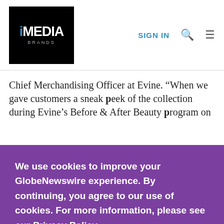iMEDIA BRANDS | SIGN IN
Chief Merchandising Officer at Evine. “When we gave customers a sneak peek of the collection during Evine’s Before & After Beauty program on
We use cookies to improve your GlobeNewswire experience. By continuing, you agree to our use of cookies. For more information, please see our Privacy Policy.
ACCEPT